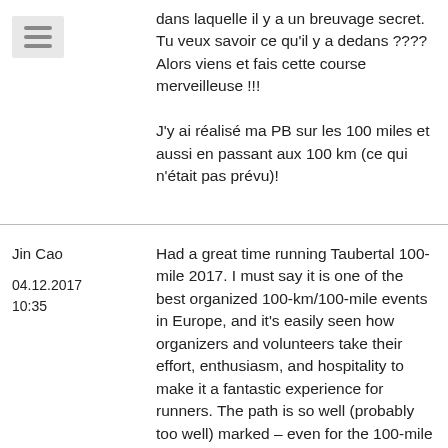[Figure (other): Hamburger menu icon (three horizontal lines) on a light grey background]
dans laquelle il y a un breuvage secret. Tu veux savoir ce qu'il y a dedans ???? Alors viens et fais cette course merveilleuse !!!

J'y ai réalisé ma PB sur les 100 miles et aussi en passant aux 100 km (ce qui n'était pas prévu)!
Jin Cao
04.12.2017
10:35
Had a great time running Taubertal 100-mile 2017. I must say it is one of the best organized 100-km/100-mile events in Europe, and it's easily seen how organizers and volunteers take their effort, enthusiasm, and hospitality to make it a fantastic experience for runners. The path is so well (probably too well) marked – even for the 100-mile extension – that it's very hard to get lost; volunteers at the checkpoints are so helpful and cheerful;